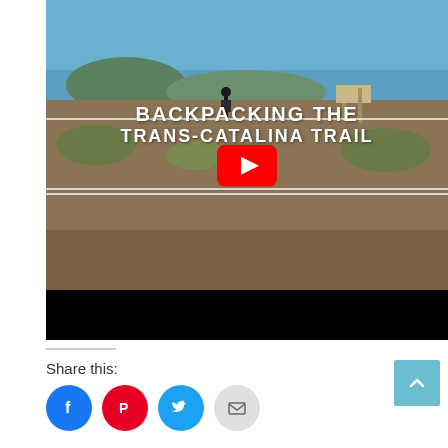[Figure (screenshot): YouTube video thumbnail for 'Backpacking the Trans-Catalina Trail' showing a hiker on a hilltop overlooking the ocean, with a large YouTube play button overlay and the video title text in white capital letters.]
Share this:
[Figure (other): Social sharing icons: Facebook (blue circle), Pinterest (red circle), Twitter (light blue circle), Email (gray circle), and a teal scroll-to-top button.]